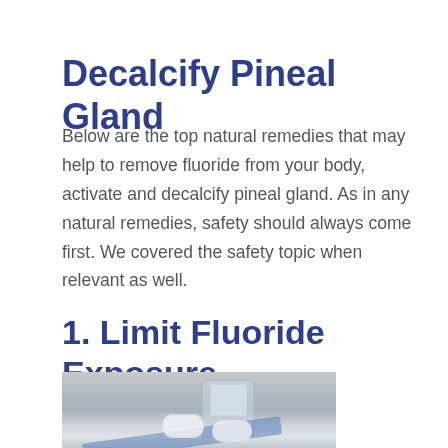Decalcify Pineal Gland
Below are the top natural remedies that may help to remove fluoride from your body, activate and decalcify pineal gland. As in any natural remedies, safety should always come first. We covered the safety topic when relevant as well.
1. Limit Fluoride Exposure
[Figure (photo): Photo of a glass of water, toothbrush, and pills/tablets on a surface, relating to fluoride exposure and dental hygiene]